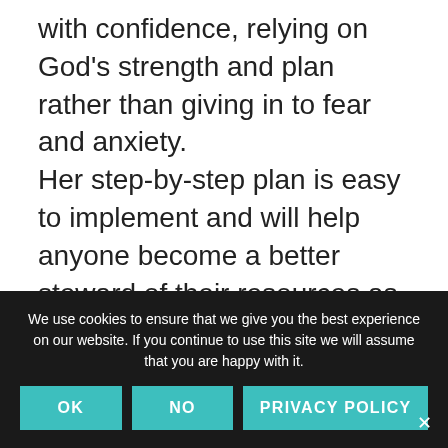with confidence, relying on God's strength and plan rather than giving in to fear and anxiety. Her step-by-step plan is easy to implement and will help anyone become a better steward of their resources as well as be the neighbor who can help in a crisis rather than needing help themselves. Kathi's goal is to equip you to be the front line of helpers in any crisis from a natural disaster
We use cookies to ensure that we give you the best experience on our website. If you continue to use this site we will assume that you are happy with it.